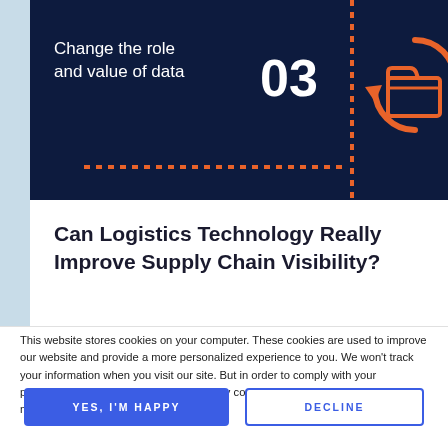[Figure (infographic): Dark navy background infographic panel with text 'Change the role and value of data', large number '03', orange dashed vertical and horizontal lines forming a cross, and an orange circular arrows icon with a folder in the center (data refresh/sync icon).]
Can Logistics Technology Really Improve Supply Chain Visibility?
This website stores cookies on your computer. These cookies are used to improve our website and provide a more personalized experience to you. We won't track your information when you visit our site. But in order to comply with your preferences, we'll have to use just one tiny cookie so that you're not asked to make this choice again.